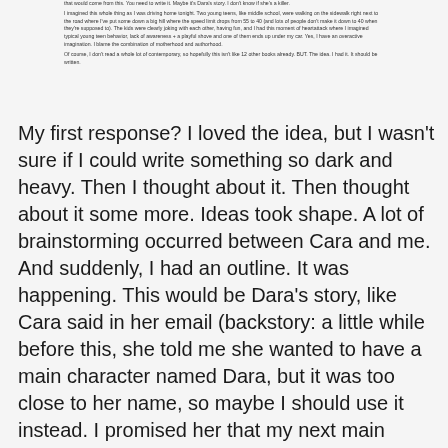that would come from this. You need to write it. Maybe it's Dara's story. I don't know if she's a killer.

I imagined this whole thing as I was driving home tonight. Two young teens, like middle school, were walking on the sidewalk right next to the road where I've put some down a big hill where the speed limit drops from 55 to 40 (and lots of people don't make it down to 40 when they're supposed to). The kids were clearly joking with each other, having fun, and I had this moment of heartattack where I imagined typical young teen behavior, lack of awareness + a playful shove and one of them ends up under my car. Yes, I have an overactive imagination. I blame the combination of motherhood and authorhood.

Of course, I don't read a whole lot of contemporary, so hopefully this isn't like 12 other books already. BUT. The idea. I had it. It should be written.
My first response? I loved the idea, but I wasn't sure if I could write something so dark and heavy. Then I thought about it. Then thought about it some more. Ideas took shape. A lot of brainstorming occurred between Cara and me. And suddenly, I had an outline. It was happening. This would be Dara's story, like Cara said in her email (backstory: a little while before this, she told me she wanted to have a main character named Dara, but it was too close to her name, so maybe I should use it instead. I promised her that my next main character would be Dara).
So I created Dara Shepard, a girl struggling with guilt. And Aubrey, the best friend she accidentally killed. And Ethan, Aubrey's younger brother who, after a year away, Dara returns to and discovers he's not the same boy she once knew. I decided on a format--non-linear with two separate timelines: sophomore year (past tense), which leads up to